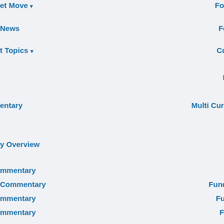et Move ▾
Forex Quote ▾
News
Forex News
t Topics ▾
Commentary
Markets ▾
entary
Multi Currencies Converter
y Overview
Fund
mmentary
Funds Main Page
Commentary
Fund Quote ▾
mmentary
Fund News
mmentary
Commentary
arch
Tools ▾
ants
MPF
Main Page
MPF Overview
Warrants
MPF Simple Search
Warrants
MPF Comparison
s Search
MPF Education
BCs
lain Page